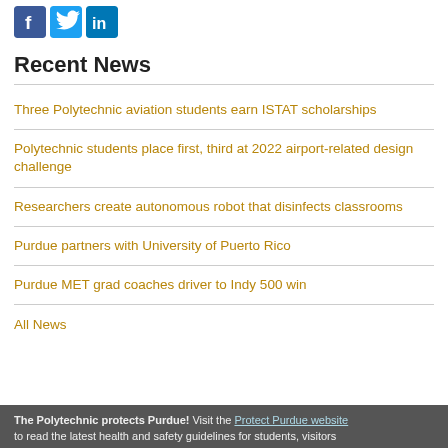[Figure (other): Social media icons row: Facebook (blue square with f), Twitter (blue square with bird), LinkedIn (blue square with in)]
Recent News
Three Polytechnic aviation students earn ISTAT scholarships
Polytechnic students place first, third at 2022 airport-related design challenge
Researchers create autonomous robot that disinfects classrooms
Purdue partners with University of Puerto Rico
Purdue MET grad coaches driver to Indy 500 win
All News
The Polytechnic protects Purdue! Visit the Protect Purdue website to read the latest health and safety guidelines for students, visitors